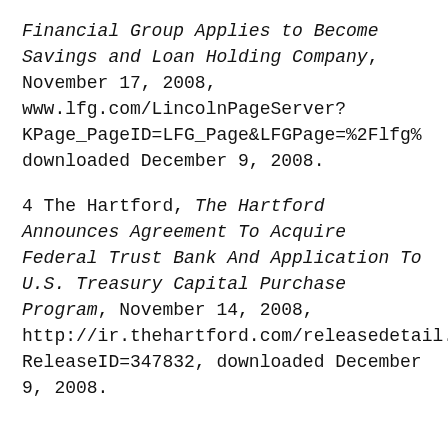Financial Group Applies to Become Savings and Loan Holding Company, November 17, 2008, www.lfg.com/LincolnPageServer?KPage_PageID=LFG_Page&LFGPage=%2Flfg% downloaded December 9, 2008.
4 The Hartford, The Hartford Announces Agreement To Acquire Federal Trust Bank And Application To U.S. Treasury Capital Purchase Program, November 14, 2008, http://ir.thehartford.com/releasedetail.cfm?ReleaseID=347832, downloaded December 9, 2008.